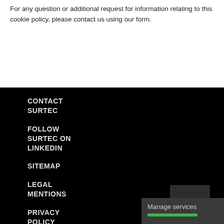For any question or additional request for information relating to this cookie policy, please contact us using our form.
CONTACT SURTEC
FOLLOW SURTEC ON LINKEDIN
SITEMAP
LEGAL MENTIONS
PRIVACY POLICY
Top
Manage services